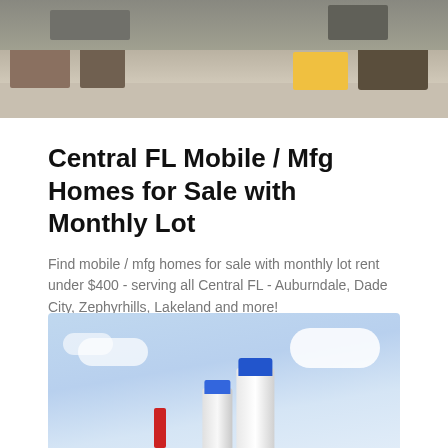[Figure (photo): Aerial view of a construction/manufacturing yard with trucks and heavy equipment]
Central FL Mobile / Mfg Homes for Sale with Monthly Lot
Find mobile / mfg homes for sale with monthly lot rent under $400 - serving all Central FL - Auburndale, Dade City, Zephyrhills, Lakeland and more!
LEARN MORE
[Figure (photo): Photo of industrial storage silos against a blue sky with clouds]